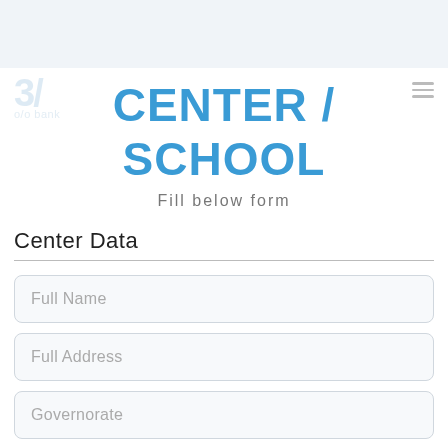CENTER / SCHOOL
Fill below form
Center Data
Full Name
Full Address
Governorate
Year of establishment